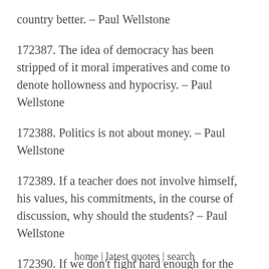country better. – Paul Wellstone
172387. The idea of democracy has been stripped of it moral imperatives and come to denote hollowness and hypocrisy. – Paul Wellstone
172388. Politics is not about money. – Paul Wellstone
172389. If a teacher does not involve himself, his values, his commitments, in the course of discussion, why should the students? – Paul Wellstone
172390. If we don't fight hard enough for the
home | latest quotes | search